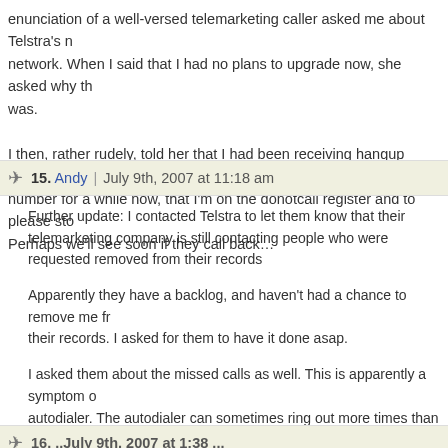enunciation of a well-versed telemarketing caller asked me about Telstra's network. When I said that I had no plans to upgrade now, she asked why that was.

I then, rather rudely, told her that I had been receiving hangup calls from this number for a while now, that I'm on the donotcall register and to please stop. Perhaps we'll see soon if they call back…
15. Andy | July 9th, 2007 at 11:18 am
Further update: I contacted Telstra to let them know that their telemarketing company is still contacting people who were requested removed from their records

Apparently they have a backlog, and haven't had a chance to remove me from their records. I asked for them to have it done asap.

I asked them about the missed calls as well. This is apparently a symptom of an autodialer. The autodialer can sometimes ring out more times than there are operators, which causes results (and I quote from Telstra's unwanted calls section) like "missed calls, hangups, heavy breathing (!), and static"

With any luck, it won't be happening anymore.